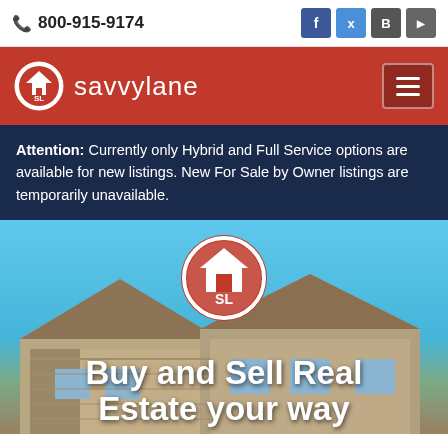📞 800-915-9174
[Figure (logo): Savvylane logo with circular SL house icon and text 'savvylane' on red navigation bar with hamburger menu button]
Attention: Currently only Hybrid and Full Service options are available for new listings. New For Sale by Owner listings are temporarily unavailable.
[Figure (photo): Hero image showing the exterior of a craftsman-style house with beige siding under a blue sky, with a large red Savvylane circular logo badge overlaid, and white bold text reading 'Buy and Sell Real Estate your way']